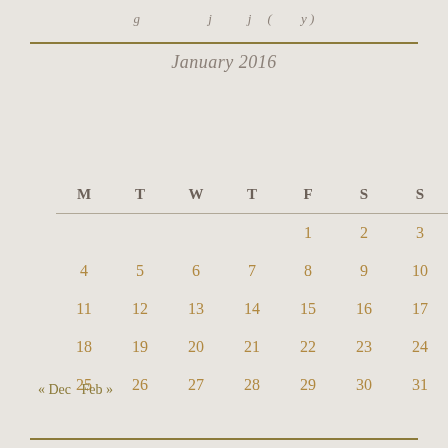| M | T | W | T | F | S | S |
| --- | --- | --- | --- | --- | --- | --- |
|  |  |  |  | 1 | 2 | 3 |
| 4 | 5 | 6 | 7 | 8 | 9 | 10 |
| 11 | 12 | 13 | 14 | 15 | 16 | 17 |
| 18 | 19 | 20 | 21 | 22 | 23 | 24 |
| 25 | 26 | 27 | 28 | 29 | 30 | 31 |
« Dec  Feb »